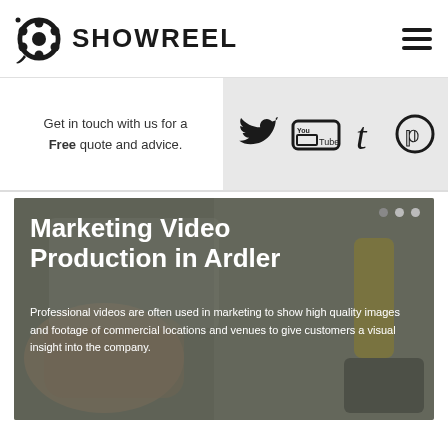SHOWREEL
Get in touch with us for a Free quote and advice.
[Figure (screenshot): Social media icons: Twitter bird, YouTube logo, Tumblr 't', Pinterest pin circle]
Marketing Video Production in Ardler
Professional videos are often used in marketing to show high quality images and footage of commercial locations and venues to give customers a visual insight into the company.